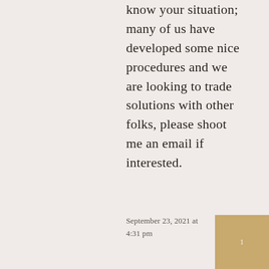know your situation; many of us have developed some nice procedures and we are looking to trade solutions with other folks, please shoot me an email if interested.
September 23, 2021 at 4:31 pm